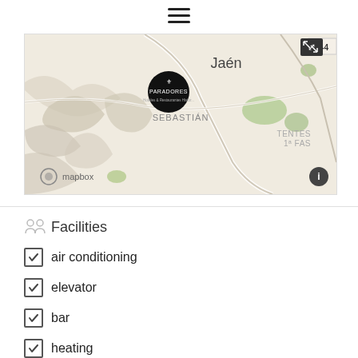[Figure (map): Mapbox map showing Jaén area in Spain with a Paradores hotel marker pin (black circle with crown logo), showing 'SEBASTIÁN' label and 'TENTES 1ª FAS' text, 'A-4' road label, and Mapbox attribution logo in bottom left.]
Facilities
air conditioning
elevator
bar
heating